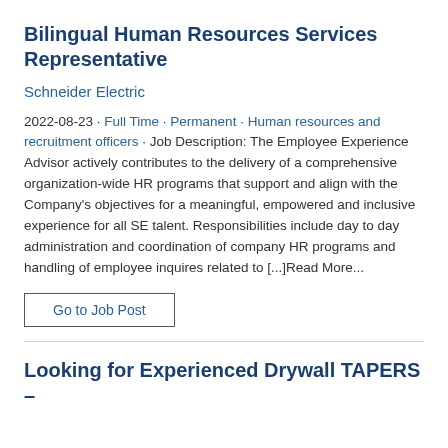Bilingual Human Resources Services Representative
Schneider Electric
2022-08-23 · Full Time · Permanent · Human resources and recruitment officers · Job Description: The Employee Experience Advisor actively contributes to the delivery of a comprehensive organization-wide HR programs that support and align with the Company's objectives for a meaningful, empowered and inclusive experience for all SE talent. Responsibilities include day to day administration and coordination of company HR programs and handling of employee inquires related to [...]Read More...
Go to Job Post
Looking for Experienced Drywall TAPERS –